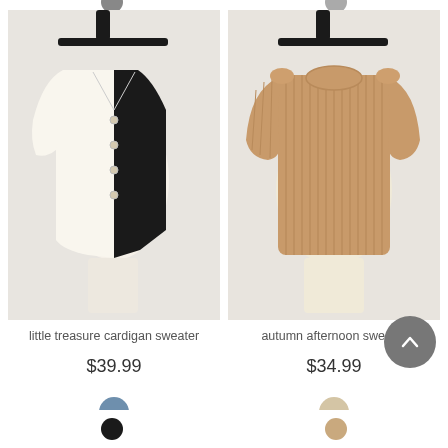[Figure (photo): White and black two-tone cardigan sweater on a dress form mannequin against a white brick wall background.]
[Figure (photo): Camel/tan ribbed knit short-sleeve sweater on a dress form mannequin against a white brick wall background.]
little treasure cardigan sweater
autumn afternoon sweater
$39.99
$34.99